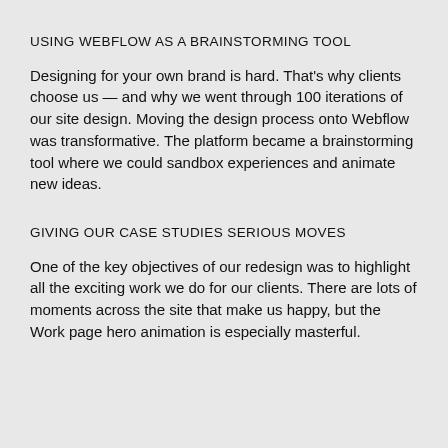USING WEBFLOW AS A BRAINSTORMING TOOL
Designing for your own brand is hard. That's why clients choose us — and why we went through 100 iterations of our site design. Moving the design process onto Webflow was transformative. The platform became a brainstorming tool where we could sandbox experiences and animate new ideas.
GIVING OUR CASE STUDIES SERIOUS MOVES
One of the key objectives of our redesign was to highlight all the exciting work we do for our clients. There are lots of moments across the site that make us happy, but the Work page hero animation is especially masterful.